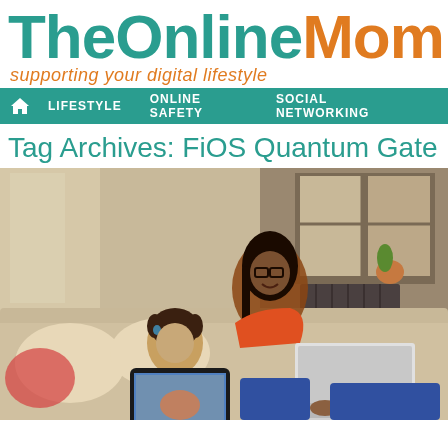TheOnlineMom
supporting your digital lifestyle
LIFESTYLE   ONLINE SAFETY   SOCIAL NETWORKING
Tag Archives: FiOS Quantum Gate
[Figure (photo): A mother and daughter sitting on a couch using a laptop and tablet computer together]